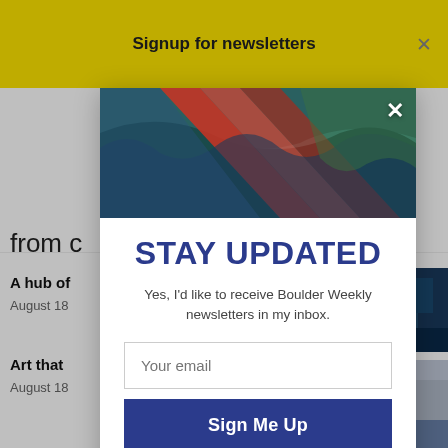Signup for newsletters
[Figure (photo): Colorful aerial/geological landscape photo with red, teal, and blue hues used as modal hero image]
STAY UPDATED
Yes, I'd like to receive Boulder Weekly newsletters in my inbox.
Your email
Sign Me Up
from c
A hub of
August 18
Art that
August 18
[Figure (photo): Thumbnail of a building exterior at night with blue lighting]
[Figure (photo): Thumbnail of street art showing a face with red mask]